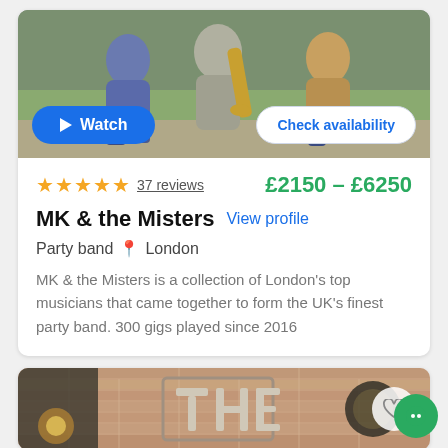[Figure (photo): Photo of MK & the Misters band members crouching outdoors, one holding a saxophone. Blue 'Watch' button and white 'Check availability' button overlaid at bottom.]
★★★★★  37 reviews   £2150 - £6250
MK & the Misters   View profile
Party band  📍 London
MK & the Misters is a collection of London's top musicians that came together to form the UK's finest party band. 300 gigs played since 2016
[Figure (photo): Partial photo of a brick venue exterior showing 'THE' signage with heart/favourite button overlay.]